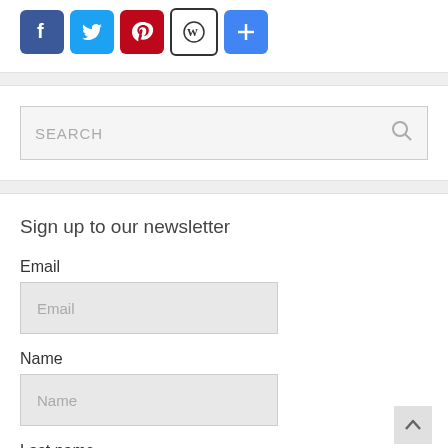[Figure (infographic): Row of social media sharing icons: Facebook (blue), Twitter (blue), Pinterest (red), WordPress (black/white), Share (blue plus)]
SEARCH
Sign up to our newsletter
Email
Email
Name
Name
Last name
Last name